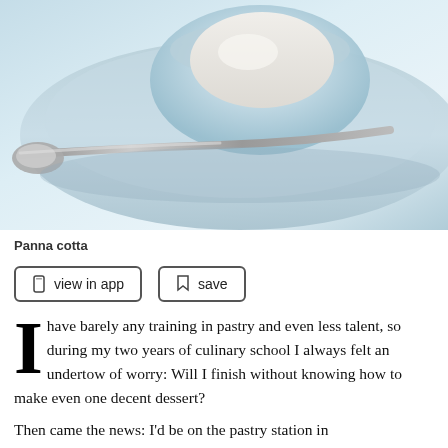[Figure (photo): Close-up photo of panna cotta in a light blue dish with a spoon resting on the saucer, light blue/white background]
Panna cotta
view in app   save
I have barely any training in pastry and even less talent, so during my two years of culinary school I always felt an undertow of worry: Will I finish without knowing how to make even one decent dessert?
Then came the news: I'd be on the pastry station in